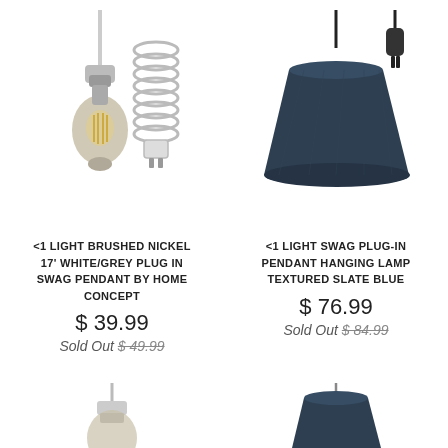[Figure (photo): Brushed nickel pendant light bulb with white/grey braided cord and plug, hanging product photo]
<1 LIGHT BRUSHED NICKEL 17' WHITE/GREY PLUG IN SWAG PENDANT BY HOME CONCEPT
$ 39.99
Sold Out $ 49.99
[Figure (photo): Dark slate blue fabric pendant lamp shade with black cord and plug, hanging product photo]
<1 LIGHT SWAG PLUG-IN PENDANT HANGING LAMP TEXTURED SLATE BLUE
$ 76.99
Sold Out $ 84.99
[Figure (photo): Partial view of additional pendant light at bottom left]
[Figure (photo): Partial view of additional pendant light at bottom right]